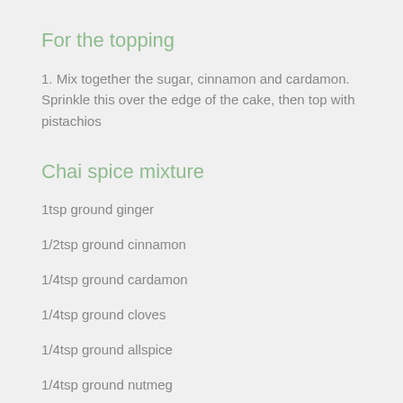For the topping
1.  Mix together the sugar, cinnamon and cardamon. Sprinkle this over the edge of the cake, then top with pistachios
Chai spice mixture
1tsp ground ginger
1/2tsp ground cinnamon
1/4tsp ground cardamon
1/4tsp ground cloves
1/4tsp ground allspice
1/4tsp ground nutmeg
Combine all spices together until well mixed. This will make more than enough chai spice for the cake, so save some for later!